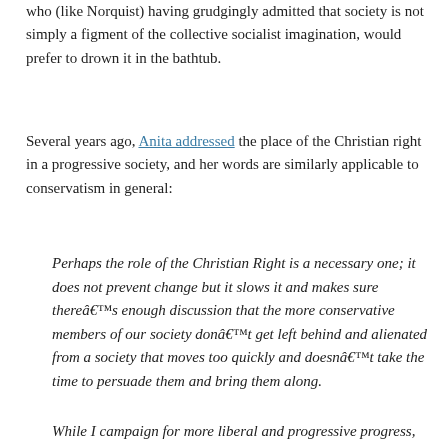who (like Norquist) having grudgingly admitted that society is not simply a figment of the collective socialist imagination, would prefer to drown it in the bathtub.
Several years ago, Anita addressed the place of the Christian right in a progressive society, and her words are similarly applicable to conservatism in general:
Perhaps the role of the Christian Right is a necessary one; it does not prevent change but it slows it and makes sure thereâ€™s enough discussion that the more conservative members of our society donâ€™t get left behind and alienated from a society that moves too quickly and doesnâ€™t take the time to persuade them and bring them along.
While I campaign for more liberal and progressive progress, Iâ€™m not sure I would be willing to pay the